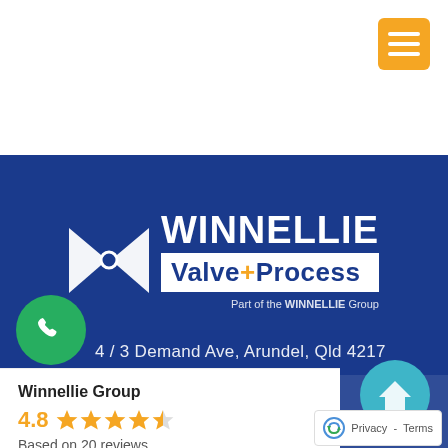[Figure (logo): Hamburger/menu button in orange]
[Figure (logo): Winnellie Valve+Process company logo on blue banner background. Butterfly valve bowtie icon on left, WINNELLIE in white text, Valve+Process in blue text on white box, 'Part of the WINNELLIE Group' subtitle.]
[Figure (logo): Green circle phone button icon]
4 / 3 Demand Ave, Arundel, Qld 4217
Winnellie Group
4.8  ★★★★☆  Based on 20 reviews
Based on 20 reviews
[Figure (logo): Teal circle with chevron/home icon]
[Figure (logo): Privacy - Terms box with reCAPTCHA logo]